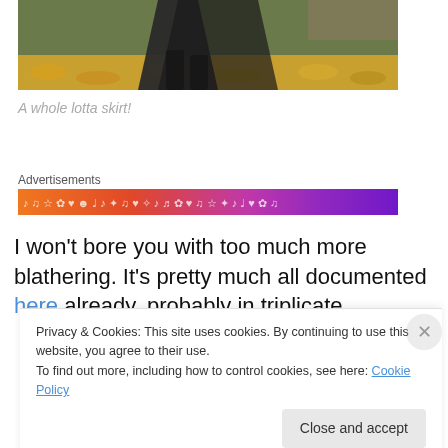[Figure (photo): Cropped photo showing lower portion of someone wearing a long skirt and black boots, standing on autumn leaves on grass]
A whole lotta skirt!
Advertisements
[Figure (infographic): Colorful gradient advertisement banner with music and decorative icons, ranging from orange to purple]
I won't bore you with too much more blathering. It's pretty much all documented here already, probably in triplicate,
Privacy & Cookies: This site uses cookies. By continuing to use this website, you agree to their use.
To find out more, including how to control cookies, see here: Cookie Policy
Close and accept